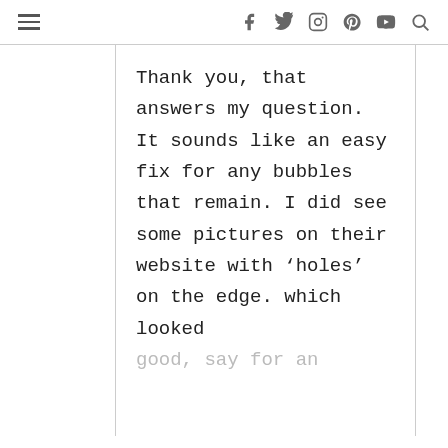≡  f  twitter  instagram  pinterest  youtube  search
Thank you, that answers my question. It sounds like an easy fix for any bubbles that remain. I did see some pictures on their website with ‘holes’ on the edge. which looked good, say for an